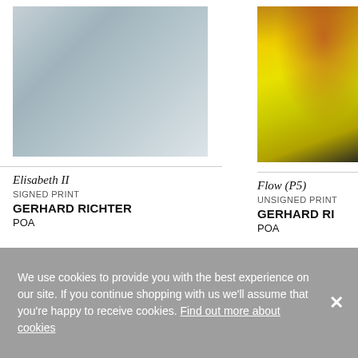[Figure (photo): Blurred grey abstract artwork - Elisabeth II by Gerhard Richter, signed print]
Elisabeth II
SIGNED PRINT
GERHARD RICHTER
POA
[Figure (photo): Vibrant yellow abstract artwork with dark and red swirls - Flow (P5) by Gerhard Richter, unsigned print]
Flow (P5)
UNSIGNED PRINT
GERHARD RI[CHTER]
POA
We use cookies to provide you with the best experience on our site. If you continue shopping with us we'll assume that you're happy to receive cookies. Find out more about cookies